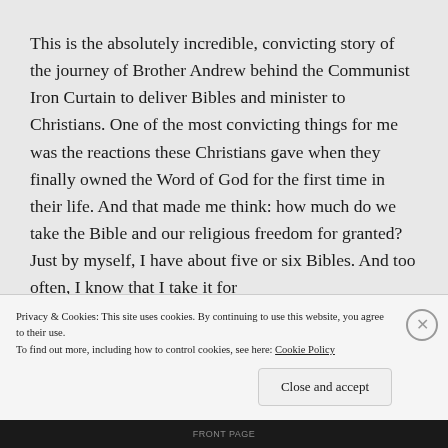This is the absolutely incredible, convicting story of the journey of Brother Andrew behind the Communist Iron Curtain to deliver Bibles and minister to Christians. One of the most convicting things for me was the reactions these Christians gave when they finally owned the Word of God for the first time in their life. And that made me think: how much do we take the Bible and our religious freedom for granted? Just by myself, I have about five or six Bibles. And too often, I know that I take it for
Privacy & Cookies: This site uses cookies. By continuing to use this website, you agree to their use.
To find out more, including how to control cookies, see here: Cookie Policy
Close and accept